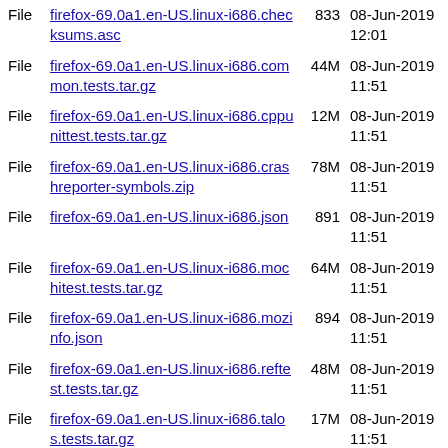File firefox-69.0a1.en-US.linux-i686.checksums.asc 833 08-Jun-2019 12:01
File firefox-69.0a1.en-US.linux-i686.common.tests.tar.gz 44M 08-Jun-2019 11:51
File firefox-69.0a1.en-US.linux-i686.cppunittest.tests.tar.gz 12M 08-Jun-2019 11:51
File firefox-69.0a1.en-US.linux-i686.crashreporter-symbols.zip 78M 08-Jun-2019 11:51
File firefox-69.0a1.en-US.linux-i686.json 891 08-Jun-2019 11:51
File firefox-69.0a1.en-US.linux-i686.mochitest.tests.tar.gz 64M 08-Jun-2019 11:51
File firefox-69.0a1.en-US.linux-i686.mozinfo.json 894 08-Jun-2019 11:51
File firefox-69.0a1.en-US.linux-i686.reftest.tests.tar.gz 48M 08-Jun-2019 11:51
File firefox-69.0a1.en-US.linux-i686.talos.tests.tar.gz 17M 08-Jun-2019 11:51
File firefox-69.0a1.en-US.linux-i686.tar.bz2 69M 08-Jun-2019 11:51
File firefox-69.0a1.en-US.linux-i686.tar.bz2.asc 833 08-Jun-2019 11:51
File firefox-69.0a1.en-US.linux- 1K 08-Jun-